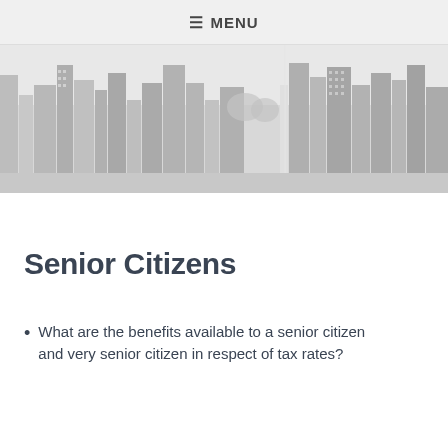≡ MENU
[Figure (photo): Black and white aerial cityscape photo showing tall office and residential skyscrapers in a dense urban setting]
Senior Citizens
What are the benefits available to a senior citizen and very senior citizen in respect of tax rates?